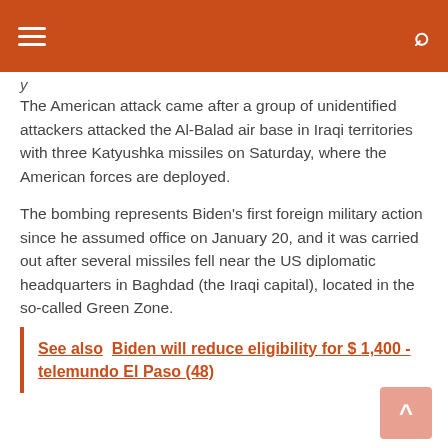[hamburger menu] [search icon]
y
The American attack came after a group of unidentified attackers attacked the Al-Balad air base in Iraqi territories with three Katyushka missiles on Saturday, where the American forces are deployed.
The bombing represents Biden’s first foreign military action since he assumed office on January 20, and it was carried out after several missiles fell near the US diplomatic headquarters in Baghdad (the Iraqi capital), located in the so-called Green Zone.
See also  Biden will reduce eligibility for $ 1,400 - telemundo El Paso (48)
However, the channel Telegram Sabrin NewsRegarding this attack, it indicated that an American aircraft attacked an empty building and other facilities belonging to the resistance groups between Albu Kamal and Al-Qaim on the